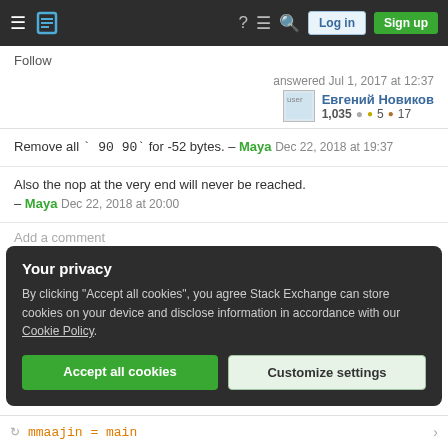Stack Exchange navigation bar with Log in and Sign up buttons
Follow
answered Jul 1, 2017 at 12:37
Евгений Новиков 1,035 ● 5 ● 17
Remove all ` 90 90` for -52 bytes. – Maya Dec 22, 2018 at 19:37
Also the nop at the very end will never be reached. – Maya Dec 22, 2018 at 20:00
Add a comment
Your privacy
By clicking "Accept all cookies", you agree Stack Exchange can store cookies on your device and disclose information in accordance with our Cookie Policy.
Accept all cookies
Customize settings
mmaajin = main